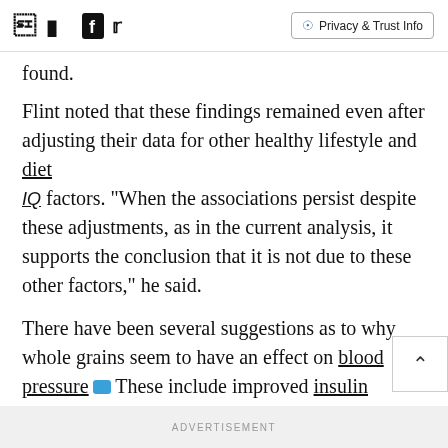Facebook Twitter Privacy & Trust Info
found.
Flint noted that these findings remained even after adjusting their data for other healthy lifestyle and diet IQ factors. "When the associations persist despite these adjustments, as in the current analysis, it supports the conclusion that it is not due to these other factors," he said.
There have been several suggestions as to why whole grains seem to have an effect on blood pressure These include improved insulin sensitivity, reduced
ADVERTISEMENT